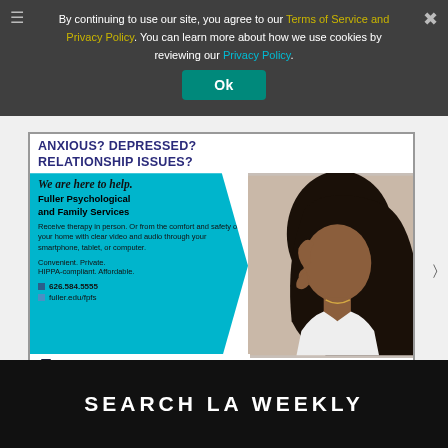By continuing to use our site, you agree to our Terms of Service and Privacy Policy. You can learn more about how we use cookies by reviewing our Privacy Policy.
[Figure (screenshot): Ok button (teal/green rounded rectangle) for cookie consent dialog]
[Figure (advertisement): Fuller Psychological and Family Services advertisement. Headline: ANXIOUS? DEPRESSED? RELATIONSHIP ISSUES?. Tagline: We are here to help. Body: Receive therapy in person. Or from the comfort and safety of your home with clear video and audio through your smartphone, tablet, or computer. Convenient. Private. HIPPA-compliant. Affordable. Phone: 626.584.5555. Web: fuller.edu/fpfs. Logo: FULLER PSYCHOLOGICAL & FAMILY SERVICES. The clinic of the Fuller School of Psychology.]
SEARCH LA WEEKLY